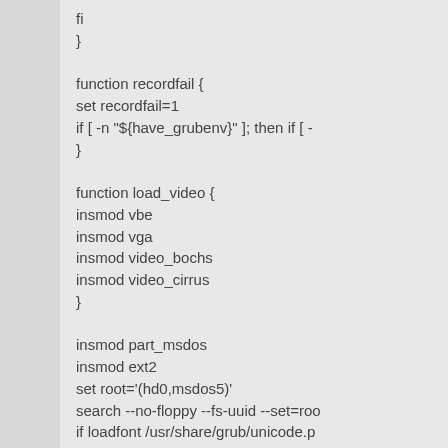fi
}

function recordfail {
set recordfail=1
if [ -n "${have_grubenv}" ]; then if [ -
}

function load_video {
insmod vbe
insmod vga
insmod video_bochs
insmod video_cirrus
}

insmod part_msdos
insmod ext2
set root='(hd0,msdos5)'
search --no-floppy --fs-uuid --set=roo
if loadfont /usr/share/grub/unicode.p
set gfxmode=1024x768